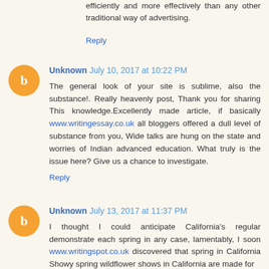efficiently and more effectively than any other traditional way of advertising.
Reply
Unknown July 10, 2017 at 10:22 PM
The general look of your site is sublime, also the substance!. Really heavenly post, Thank you for sharing This knowledge.Excellently made article, if basically www.writingessay.co.uk all bloggers offered a dull level of substance from you, Wide talks are hung on the state and worries of Indian advanced education. What truly is the issue here? Give us a chance to investigate.
Reply
Unknown July 13, 2017 at 11:37 PM
I thought I could anticipate California's regular demonstrate each spring in any case, lamentably, I soon www.writingspot.co.uk discovered that spring in California Showy spring wildflower shows in California are made for